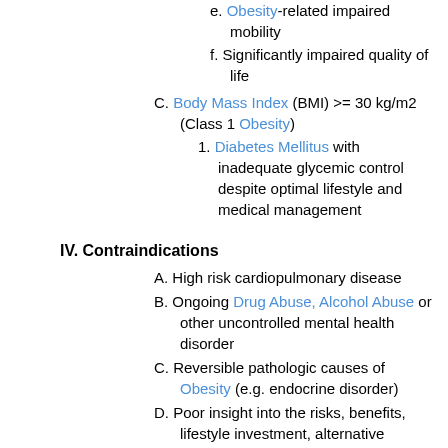e. Obesity-related impaired mobility
f. Significantly impaired quality of life
C. Body Mass Index (BMI) >= 30 kg/m2 (Class 1 Obesity)
1. Diabetes Mellitus with inadequate glycemic control despite optimal lifestyle and medical management
IV. Contraindications
A. High risk cardiopulmonary disease
B. Ongoing Drug Abuse, Alcohol Abuse or other uncontrolled mental health disorder
C. Reversible pathologic causes of Obesity (e.g. endocrine disorder)
D. Poor insight into the risks, benefits, lifestyle investment, alternative options, or expected outcomes
V. Mechanism